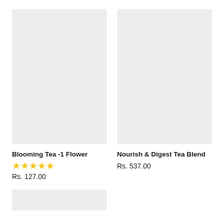[Figure (photo): Product image placeholder for Blooming Tea -1 Flower, light gray background]
[Figure (photo): Product image placeholder for Nourish & Digest Tea Blend, light gray background]
Blooming Tea -1 Flower
★★★★★
Rs. 127.00
Nourish & Digest Tea Blend
Rs. 537.00
[Figure (photo): Partial product image placeholder at bottom left, light gray background]